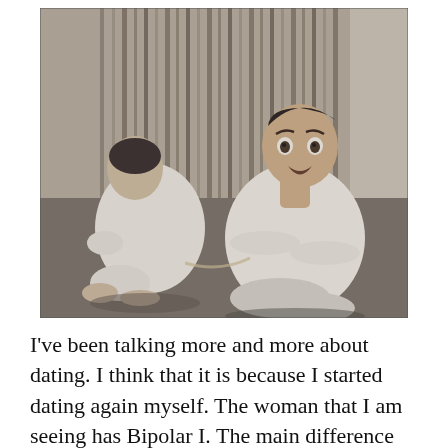[Figure (photo): Black and white photograph of two young boys sitting on the ground in front of a bamboo fence. The boy on the left faces away, wearing light clothing and barefoot. The boy on the right faces the camera with a surprised expression, wearing a light-colored loose shirt and pants, with arms crossed.]
I've been talking more and more about dating. I think that it is because I started dating again myself. The woman that I am seeing has Bipolar I. The main difference...